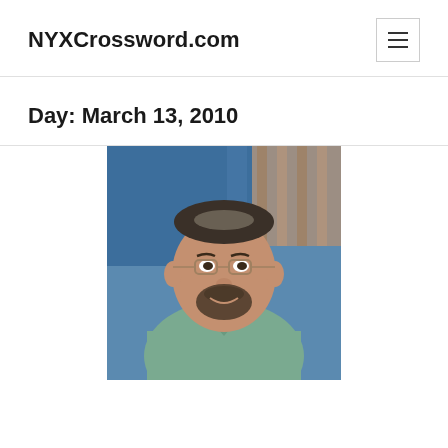NYXCrossword.com
Day: March 13, 2010
[Figure (photo): Portrait photo of a middle-aged man with glasses and a beard, wearing a light green/teal shirt, smiling, with a blue and patterned background.]